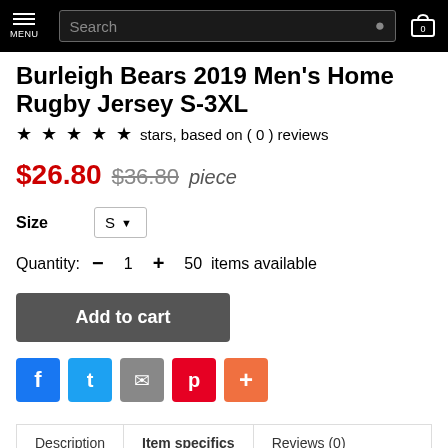MENU | Search | 0 (cart)
Burleigh Bears 2019 Men's Home Rugby Jersey S-3XL
★ ★ ★ ★ ★  stars, based on ( 0 ) reviews
$26.80  $36.80  piece
Size  S
Quantity:  -  1  +  50  items available
Add to cart
f  t  ✉  p  +
Description  Item specifics  Reviews (0)